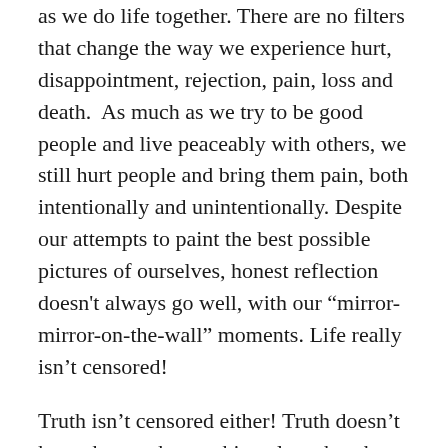as we do life together. There are no filters that change the way we experience hurt, disappointment, rejection, pain, loss and death.  As much as we try to be good people and live peaceably with others, we still hurt people and bring them pain, both intentionally and unintentionally. Despite our attempts to paint the best possible pictures of ourselves, honest reflection doesn't always go well, with our “mirror-mirror-on-the-wall” moments. Life really isn’t censored!
Truth isn’t censored either! Truth doesn’t know how to be anything else other than truth. The beautiful truth about us as human beings, is our ability to inspire and empower each other towards our best.
We only truly understand ourselves – our capacity for love, forgiveness, joy and hate – when we come into contact with other human beings. Because of this